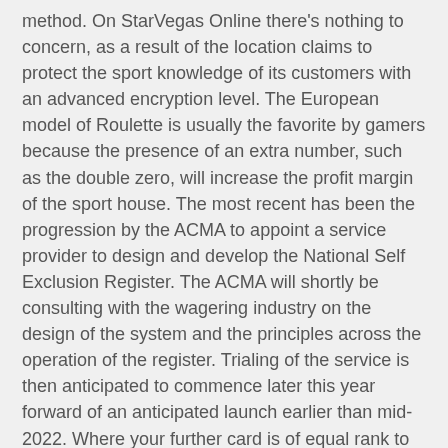method. On StarVegas Online there's nothing to concern, as a result of the location claims to protect the sport knowledge of its customers with an advanced encryption level. The European model of Roulette is usually the favorite by gamers because the presence of an extra number, such as the double zero, will increase the profit margin of the sport house. The most recent has been the progression by the ACMA to appoint a service provider to design and develop the National Self Exclusion Register. The ACMA will shortly be consulting with the wagering industry on the design of the system and the principles across the operation of the register. Trialing of the service is then anticipated to commence later this year forward of an anticipated launch earlier than mid-2022. Where your further card is of equal rank to the dealer's additional card, you might be paid at odds of two to 1 on your 'War Wager' solely.
However, Aussie gamers have to concentrate to the highest on-line casinos in Australia, determine the options of an internet on line casino and define the most